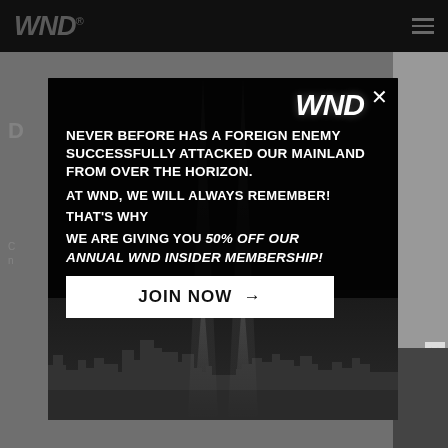WND
[Figure (screenshot): WND website modal popup advertisement offering 50% off WND Insider Membership, with a 9/11 memorial skyline image (two beams of light over New York City skyline). Modal contains WND logo, promotional text, and JOIN NOW button.]
NEVER BEFORE HAS A FOREIGN ENEMY SUCCESSFULLY ATTACKED OUR MAINLAND FROM OVER THE HORIZON.
AT WND, WE WILL ALWAYS REMEMBER!
THAT'S WHY
WE ARE GIVING YOU 50% OFF OUR ANNUAL WND INSIDER MEMBERSHIP!
JOIN NOW →